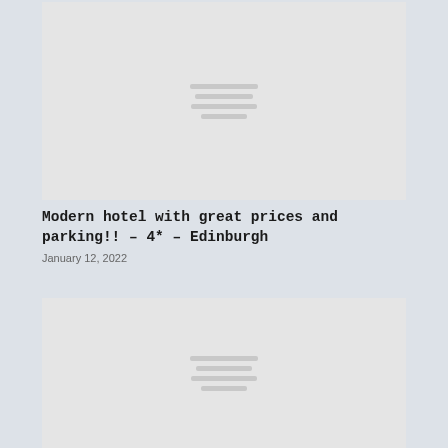[Figure (photo): Placeholder image block (light grey rectangle with four horizontal grey lines centered) for a hotel article.]
Modern hotel with great prices and parking!! – 4* – Edinburgh
January 12, 2022
[Figure (photo): Second placeholder image block (light grey rectangle with four horizontal grey lines centered) for another article.]